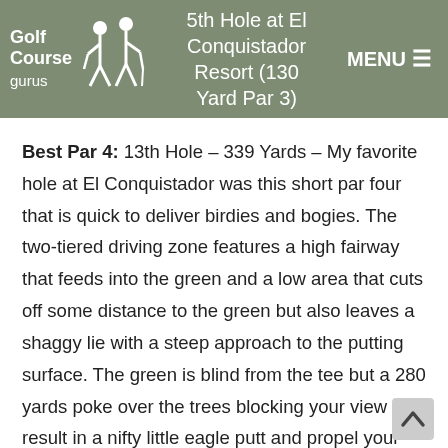5th Hole at El Conquistador Resort (130 Yard Par 3)
Best Par 4: 13th Hole – 339 Yards – My favorite hole at El Conquistador was this short par four that is quick to deliver birdies and bogies. The two-tiered driving zone features a high fairway that feeds into the green and a low area that cuts off some distance to the green but also leaves a shaggy lie with a steep approach to the putting surface. The green is blind from the tee but a 280 yards poke over the trees blocking your view can result in a nifty little eagle putt and propel your